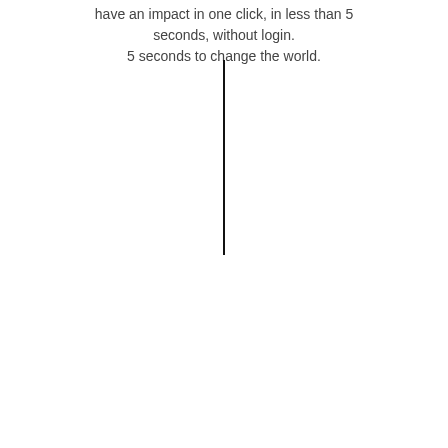have an impact in one click, in less than 5 seconds, without login.
5 seconds to change the world.
[Figure (other): A vertical black line divider]